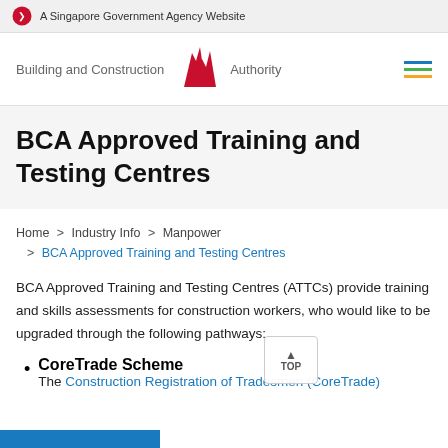A Singapore Government Agency Website
[Figure (logo): Building and Construction Authority logo with red stylized building icon and text]
BCA Approved Training and Testing Centres
Home > Industry Info > Manpower > BCA Approved Training and Testing Centres
BCA Approved Training and Testing Centres (ATTCs) provide training and skills assessments for construction workers, who would like to be upgraded through the following pathways:
CoreTrade Scheme
The Construction Registration of Tradesmen (CoreTrade)